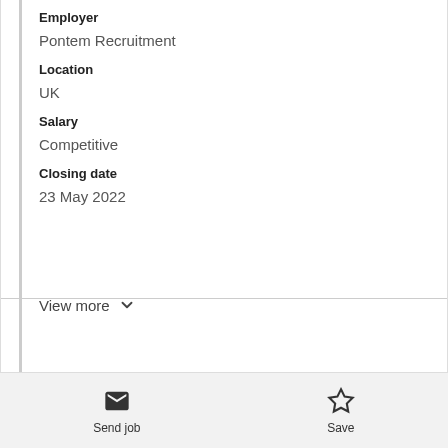Employer
Pontem Recruitment
Location
UK
Salary
Competitive
Closing date
23 May 2022
View more
Send job
Save